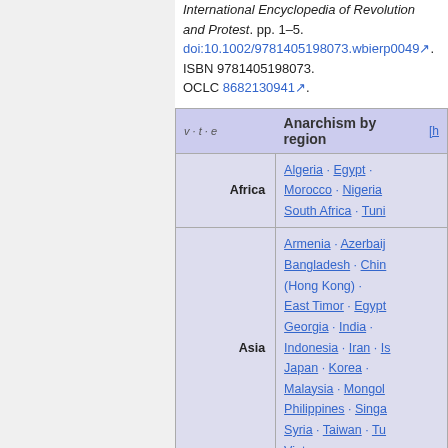International Encyclopedia of Revolution and Protest. pp. 1–5. doi:10.1002/9781405198073.wbierp0049. ISBN 9781405198073. OCLC 8682130941.
| v · t · e | Anarchism by region | [h] |
| --- | --- | --- |
| Africa | Algeria · Egypt · Morocco · Nigeria · South Africa · Tuni... |
| Asia | Armenia · Azerbaij... · Bangladesh · Chin... (Hong Kong) · East Timor · Egypt... · Georgia · India · Indonesia · Iran · Is... · Japan · Korea · Malaysia · Mongol... · Philippines · Singa... · Syria · Taiwan · Tu... · Vietnam |
| (Europe partial) | Albania · Andorra · Austria · Belarus · Belgium ·... |